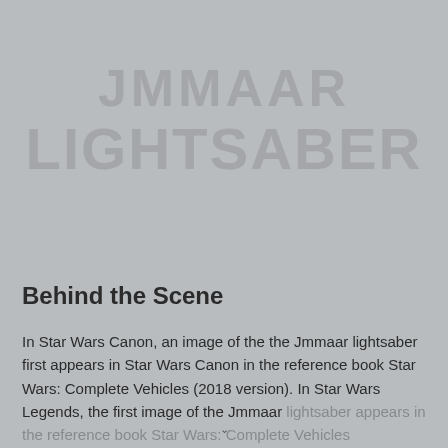[Figure (other): Watermark text in two lines: 'JMMAAR' and 'LIGHTSABER' rendered in large semi-transparent gray text over gray background]
Behind the Scene
In Star Wars Canon, an image of the the Jmmaar lightsaber first appears in Star Wars Canon in the reference book Star Wars: Complete Vehicles (2018 version). In Star Wars Legends, the first image of the Jmmaar lightsaber appears in...